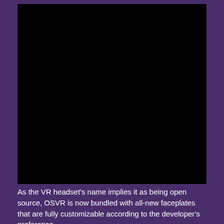[Figure (photo): A dark/black image area representing a VR headset photo, mostly obscured or very dark.]
As the VR headset's name implies it as being open source, OSVR is now bundled with all-new faceplates that are fully customizable according to the developer's preference.